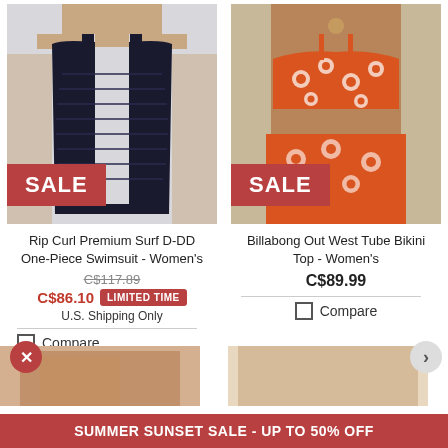[Figure (photo): Woman wearing a dark navy one-piece swimsuit with SALE badge overlay]
[Figure (photo): Woman wearing an orange floral print bikini top with SALE badge overlay]
Rip Curl Premium Surf D-DD One-Piece Swimsuit - Women's
C$117.89 (strikethrough original price)
C$86.10 LIMITED TIME
U.S. Shipping Only
Compare
Billabong Out West Tube Bikini Top - Women's
C$89.99
Compare
[Figure (photo): Partial product photos at bottom of page]
SUMMER SUNSET SALE - UP TO 50% OFF